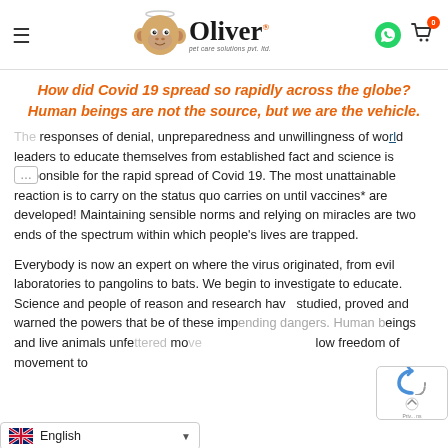Oliver pet care solutions pvt. ltd. — navigation header with menu, logo, whatsapp and cart icons
How did Covid 19 spread so rapidly across the globe? Human beings are not the source, but we are the vehicle.
The responses of denial, unpreparedness and unwillingness of world leaders to educate themselves from established fact and science is responsible for the rapid spread of Covid 19. The most unattainable reaction is to carry on the status quo carries on until vaccines* are developed! Maintaining sensible norms and relying on miracles are two ends of the spectrum within which people's lives are trapped.
Everybody is now an expert on where the virus originated, from evil laboratories to pangolins to bats. We begin to investigate to educate. Science and people of reason and research have studied, proved and warned the powers that be of these impending dangers. Human beings and live animals unfe... mo... low freedom of movement to